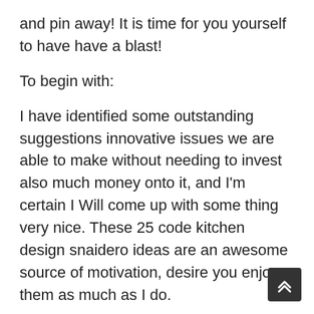and pin away! It is time for you yourself to have have a blast!
To begin with:
I have identified some outstanding suggestions innovative issues we are able to make without needing to invest also much money onto it, and I'm certain I Will come up with some thing very nice. These 25 code kitchen design snaidero ideas are an awesome source of motivation, desire you enjoy them as much as I do.
Welcome to our gallery featuring the greatest code kitchen design snaidero. Browse the photogallery below, to see examples of items motivated you. Please request us because we may probably find it, should you not understand what you're seeking for.